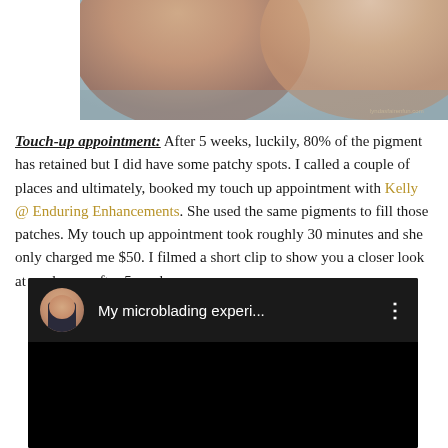[Figure (photo): Photo of two women's faces close together, showing eyebrows and facial features, with a small watermark in bottom right corner.]
Touch-up appointment: After 5 weeks, luckily, 80% of the pigment has retained but I did have some patchy spots. I called a couple of places and ultimately, booked my touch up appointment with Kelly @ Enduring Enhancements. She used the same pigments to fill those patches. My touch up appointment took roughly 30 minutes and she only charged me $50. I filmed a short clip to show you a closer look at my brows after 5 weeks.
[Figure (screenshot): Embedded YouTube-style video thumbnail showing a dark/black screen with a circular avatar of a woman on the left, video title 'My microblading experi...' in white text, and a three-dot menu icon on the right.]